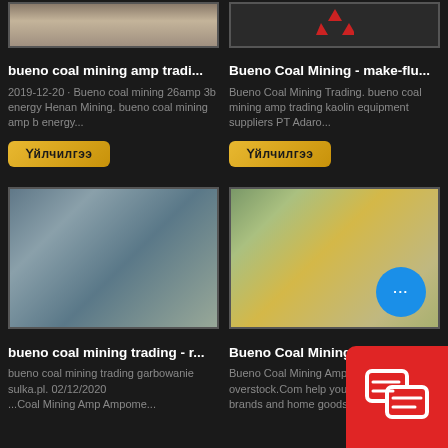[Figure (photo): Mining/construction site with sand/gravel, top-left card image]
[Figure (logo): Dark background with Mitsubishi logo in red, top-right card image]
bueno coal mining amp tradi...
Bueno Coal Mining - make-flu...
2019-12-20 · Bueno coal mining 26amp 3b energy Henan Mining. bueno coal mining amp b energy...
Bueno Coal Mining Trading. bueno coal mining amp trading kaolin equipment suppliers PT Adaro...
Үйлчилгээ
Үйлчилгээ
[Figure (photo): Industrial mining equipment/conveyor belt facility, bottom-left card image]
[Figure (photo): Open-pit mining with yellow machinery and dust, bottom-right card image]
bueno coal mining trading - r...
Bueno Coal Mining A...
bueno coal mining trading garbowanie sulka.pl. 02/12/2020 ...
Bueno Coal Mining Amp B Trading. Let overstock.Com help you discover designer brands and home goods...